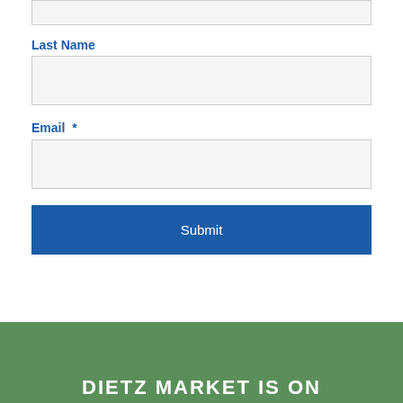Last Name
[Figure (screenshot): Empty text input field for Last Name]
Email *
[Figure (screenshot): Empty text input field for Email]
Submit
DIETZ MARKET IS ON